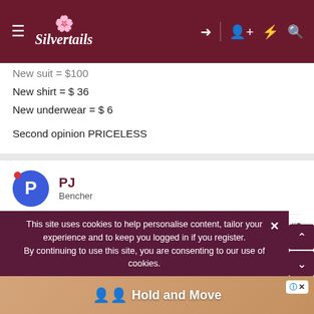Silvertails
New suit = $100
New shirt = $ 36
New underwear = $ 6

Second opinion PRICELESS
PJ
Bencher
May 13, 2005 #2
Not too bad....
Did you here about the 80 year old billionaire who went to
This site uses cookies to help personalise content, tailor your experience and to keep you logged in if you register.
By continuing to use this site, you are consenting to our use of cookies.
[Figure (screenshot): Hold and Move app advertisement banner at bottom of screen]